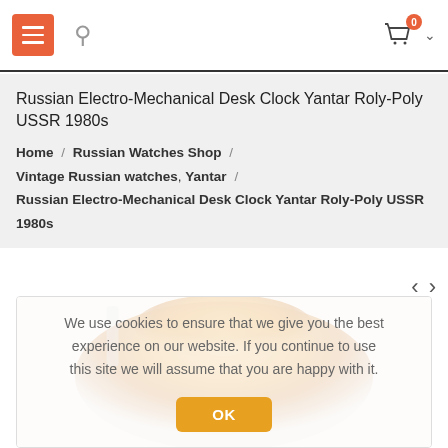Russian Watches Shop – navigation header with menu, search, and cart (0 items)
Russian Electro-Mechanical Desk Clock Yantar Roly-Poly USSR 1980s
Home / Russian Watches Shop / Vintage Russian watches, Yantar / Russian Electro-Mechanical Desk Clock Yantar Roly-Poly USSR 1980s
[Figure (photo): Product image of Russian Electro-Mechanical Desk Clock Yantar Roly-Poly USSR 1980s – partially visible, circular clock face with beige/gold coloring]
We use cookies to ensure that we give you the best experience on our website. If you continue to use this site we will assume that you are happy with it.